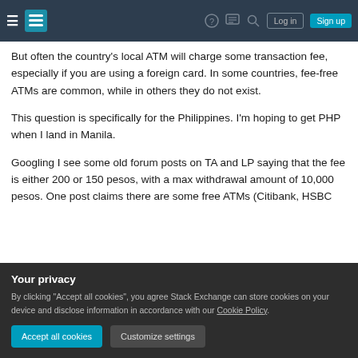Stack Exchange navigation bar with hamburger menu, logo, help, chat, search, Log in, Sign up
But often the country's local ATM will charge some transaction fee, especially if you are using a foreign card. In some countries, fee-free ATMs are common, while in others they do not exist.
This question is specifically for the Philippines. I'm hoping to get PHP when I land in Manila.
Googling I see some old forum posts on TA and LP saying that the fee is either 200 or 150 pesos, with a max withdrawal amount of 10,000 pesos. One post claims there are some free ATMs (Citibank, HSBC
Your privacy
By clicking "Accept all cookies", you agree Stack Exchange can store cookies on your device and disclose information in accordance with our Cookie Policy.
Accept all cookies
Customize settings